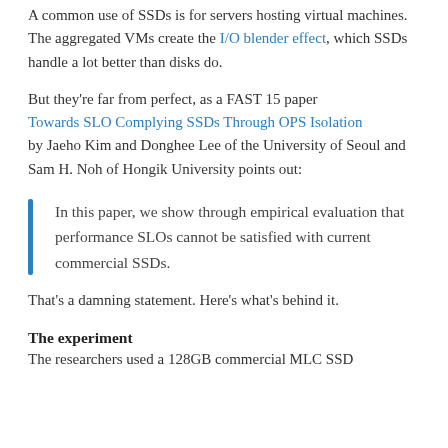A common use of SSDs is for servers hosting virtual machines. The aggregated VMs create the I/O blender effect, which SSDs handle a lot better than disks do.
But they're far from perfect, as a FAST 15 paper Towards SLO Complying SSDs Through OPS Isolation by Jaeho Kim and Donghee Lee of the University of Seoul and Sam H. Noh of Hongik University points out:
In this paper, we show through empirical evaluation that performance SLOs cannot be satisfied with current commercial SSDs.
That's a damning statement. Here's what's behind it.
The experiment
The researchers used a 128GB commercial MLC SSD